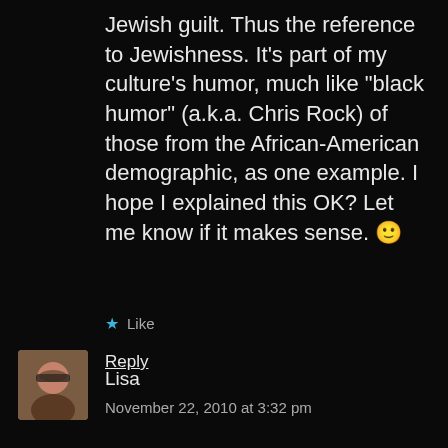Jewish guilt. Thus the reference to Jewishness. It's part of my culture's humor, much like "black humor" (a.k.a. Chris Rock) of those from the African-American demographic, as one example. I hope I explained this OK? Let me know if it makes sense. 🙂
★ Like
Reply
[Figure (photo): Small avatar photo of a woman with sunglasses, brown hair, wearing a dark top]
Lisa
November 22, 2010 at 3:32 pm